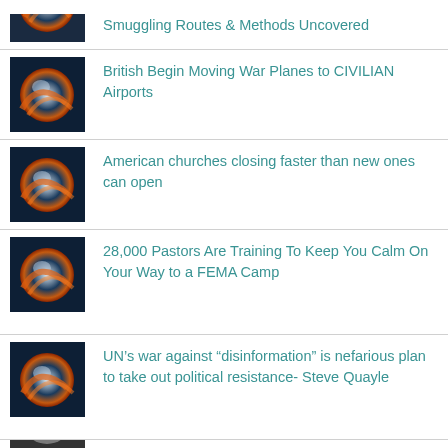Smuggling Routes & Methods Uncovered
British Begin Moving War Planes to CIVILIAN Airports
American churches closing faster than new ones can open
28,000 Pastors Are Training To Keep You Calm On Your Way to a FEMA Camp
UN’s war against “disinformation” is nefarious plan to take out political resistance- Steve Quayle